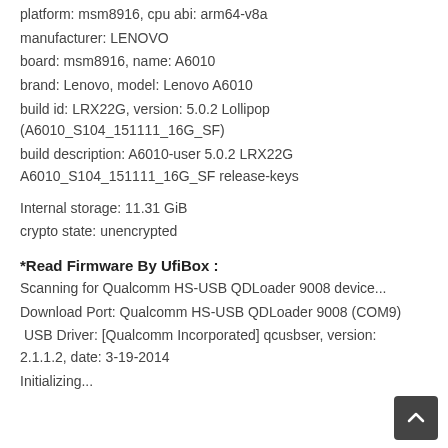platform: msm8916, cpu abi: arm64-v8a
manufacturer: LENOVO
board: msm8916, name: A6010
brand: Lenovo, model: Lenovo A6010
build id: LRX22G, version: 5.0.2 Lollipop (A6010_S104_151111_16G_SF)
build description: A6010-user 5.0.2 LRX22G A6010_S104_151111_16G_SF release-keys
Internal storage: 11.31 GiB
crypto state: unencrypted
*Read Firmware By UfiBox :
Scanning for Qualcomm HS-USB QDLoader 9008 device...
Download Port: Qualcomm HS-USB QDLoader 9008 (COM9)
USB Driver: [Qualcomm Incorporated] qcusbser, version: 2.1.1.2, date: 3-19-2014
Initializing...